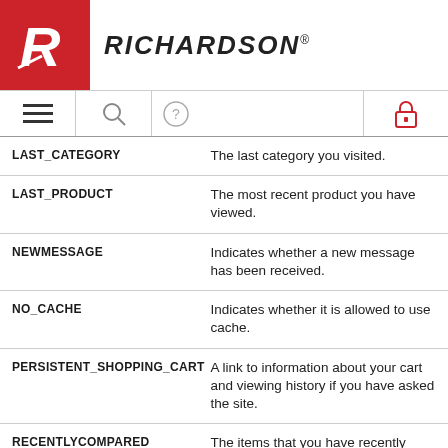[Figure (logo): Richardson brand logo with red R icon and RICHARDSON. wordmark]
[Figure (screenshot): Navigation bar with hamburger menu, search icon, help/question icon, and lock icon]
| Cookie Name | Description |
| --- | --- |
| LAST_CATEGORY | The last category you visited. |
| LAST_PRODUCT | The most recent product you have viewed. |
| NEWMESSAGE | Indicates whether a new message has been received. |
| NO_CACHE | Indicates whether it is allowed to use cache. |
| PERSISTENT_SHOPPING_CART | A link to information about your cart and viewing history if you have asked the site. |
| RECENTLYCOMPARED | The items that you have recently compared. |
| STF | Information on products you have emailed to friends. |